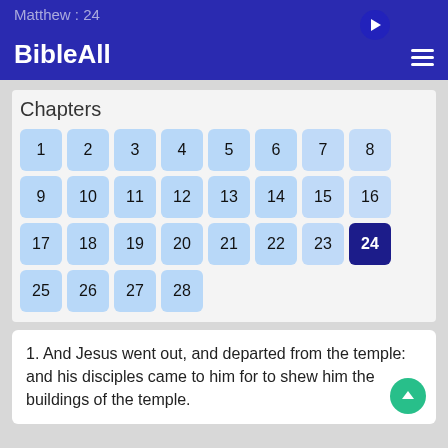Matthew : 24 — BibleAll
Chapters
1 2 3 4 5 6 7 8 9 10 11 12 13 14 15 16 17 18 19 20 21 22 23 24 25 26 27 28
1. And Jesus went out, and departed from the temple: and his disciples came to him for to shew him the buildings of the temple.